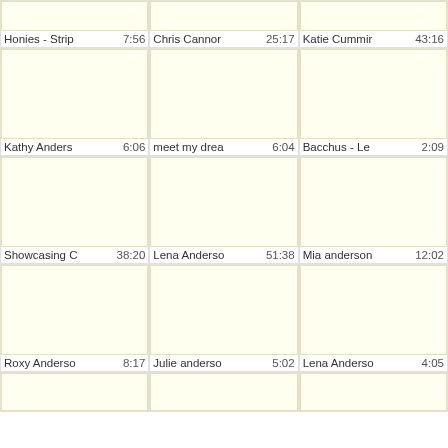[Figure (screenshot): Grid of video thumbnails with titles and durations. Row 0 (partial): Honies - Strip 7:56, Chris Cannon 25:17, Katie Cummin 43:16. Row 1: Kathy Anders 6:06, meet my drea 6:04, Bacchus - Le 2:09. Row 2: Showcasing C 38:20, Lena Anderso 51:38, Mia anderson 12:02. Row 3: Roxy Anderso 8:17, Julie anderso 5:02, Lena Anderso 4:05. Row 4 (partial thumbnails only).]